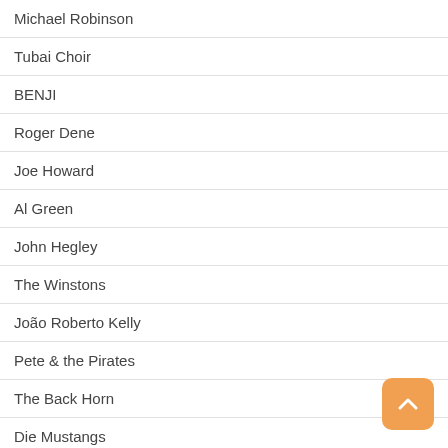Michael Robinson
Tubai Choir
BENJI
Roger Dene
Joe Howard
Al Green
John Hegley
The Winstons
João Roberto Kelly
Pete & the Pirates
The Back Horn
Die Mustangs
Joe Gordon
Blinking Underdogs
Djesto